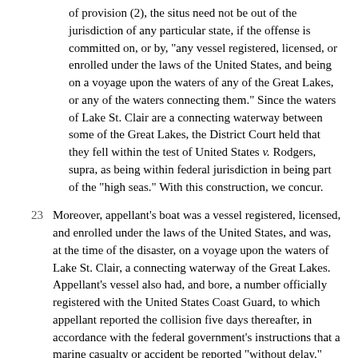of provision (2), the situs need not be out of the jurisdiction of any particular state, if the offense is committed on, or by, "any vessel registered, licensed, or enrolled under the laws of the United States, and being on a voyage upon the waters of any of the Great Lakes, or any of the waters connecting them." Since the waters of Lake St. Clair are a connecting waterway between some of the Great Lakes, the District Court held that they fell within the test of United States v. Rodgers, supra, as being within federal jurisdiction in being part of the "high seas." With this construction, we concur.
Moreover, appellant's boat was a vessel registered, licensed, and enrolled under the laws of the United States, and was, at the time of the disaster, on a voyage upon the waters of Lake St. Clair, a connecting waterway of the Great Lakes. Appellant's vessel also had, and bore, a number officially registered with the United States Coast Guard, to which appellant reported the collision five days thereafter, in accordance with the federal government's instructions that a marine casualty or accident be reported "without delay." Under the above statute, the maritime and territorial jurisdiction included the offense committed on the connecting waters of the Great Lakes by appellant's vessel.
The contention is advanced that, assuming that federal maritime